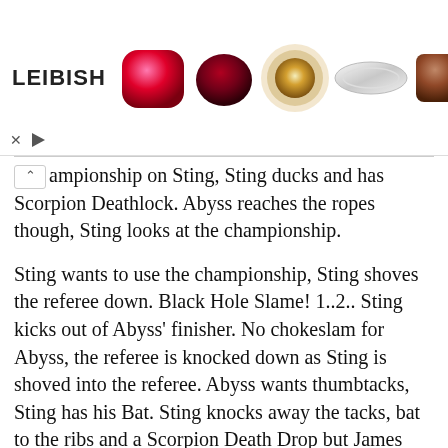[Figure (illustration): LEIBISH advertisement banner showing gemstones and jewelry: a red cushion-cut ruby, a dark red oval ruby, a yellow diamond with halo ring, a diamond bypass ring, and an orange-brown cushion-cut diamond. Brand name LEIBISH on the left with close and play controls below.]
ampionship on Sting, Sting ducks and has Scorpion Deathlock. Abyss reaches the ropes though, Sting looks at the championship.
Sting wants to use the championship, Sting shoves the referee down. Black Hole Slame! 1..2.. Sting kicks out of Abyss' finisher. No chokeslam for Abyss, the referee is knocked down as Sting is shoved into the referee. Abyss wants thumbtacks, Sting has his Bat. Sting knocks away the tacks, bat to the ribs and a Scorpion Death Drop but James Mitchell pulls out the referee. Sting pulls out the tacks, Abyss chokeslams Sting onto the tacks. 1….2….Sting kicks out and Sting shakes it off like nothing. Sting drop toeholds Abyss into the tacks, Scorpion Deathlock, Mitchell distracts the referee.